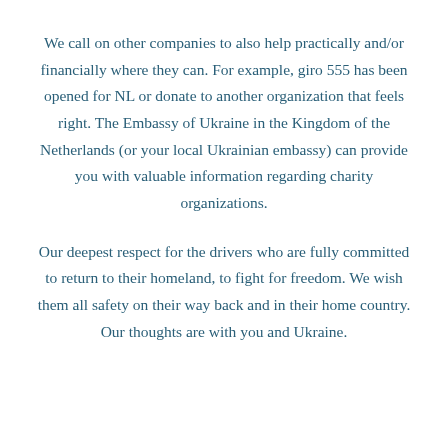We call on other companies to also help practically and/or financially where they can. For example, giro 555 has been opened for NL or donate to another organization that feels right. The Embassy of Ukraine in the Kingdom of the Netherlands (or your local Ukrainian embassy) can provide you with valuable information regarding charity organizations.
Our deepest respect for the drivers who are fully committed to return to their homeland, to fight for freedom. We wish them all safety on their way back and in their home country. Our thoughts are with you and Ukraine.